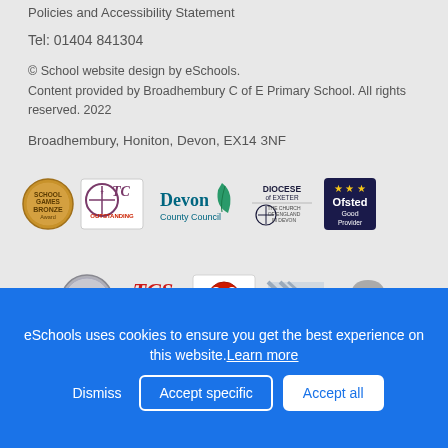Policies and Accessibility Statement
Tel: 01404 841304
© School website design by eSchools. Content provided by Broadhembury C of E Primary School. All rights reserved. 2022
Broadhembury, Honiton, Devon, EX14 3NF
[Figure (logo): Row of logos: School Games Bronze award, The Church of England Outstanding, Devon County Council, Diocese of Exeter, Ofsted Good Provider]
[Figure (logo): Row of logos: School Games Silver, The National Society, Global Neighbours, Industrial Cadets, Silver Mind award]
eSchools uses cookies to ensure you get the best experience on this website. Learn more
Dismiss | Accept specific | Accept all